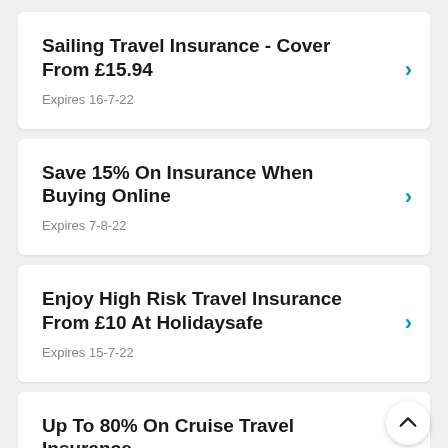Sailing Travel Insurance - Cover From £15.94
Expires 16-7-22
Save 15% On Insurance When Buying Online
Expires 7-8-22
Enjoy High Risk Travel Insurance From £10 At Holidaysafe
Expires 15-7-22
Up To 80% On Cruise Travel Insurance